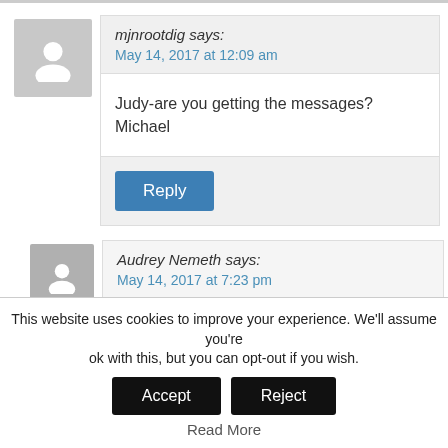mjnrootdig says:
May 14, 2017 at 12:09 am
Judy-are you getting the messages? Michael
Reply
Audrey Nemeth says:
May 14, 2017 at 7:23 pm
I've just started subscribing to your tips and really enjoy them! Please keep me subscribed!
This website uses cookies to improve your experience. We'll assume you're ok with this, but you can opt-out if you wish.
Accept
Reject
Read More